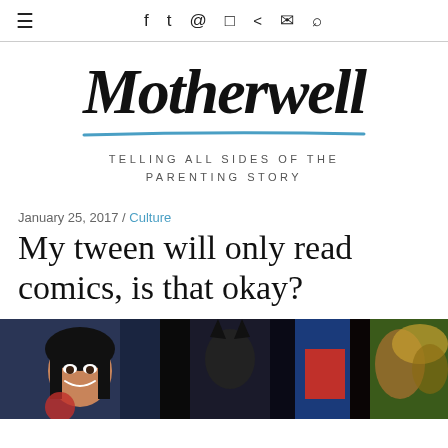≡ f t ℗ ☷ ≺ ✉ ⌕
Motherwell
TELLING ALL SIDES OF THE PARENTING STORY
January 25, 2017 / Culture
My tween will only read comics, is that okay?
[Figure (illustration): Comic book art showing superhero characters including a dark-haired female hero smiling and other heroes in colorful costumes]